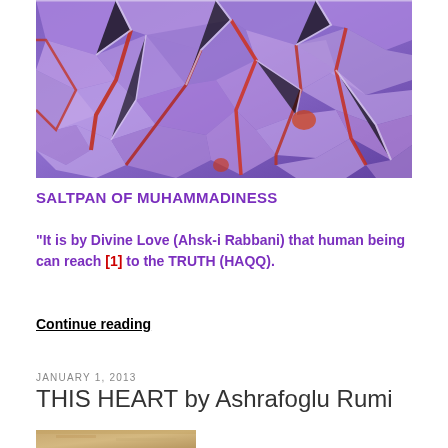[Figure (photo): Aerial view of salt pans with cracked purple and red patterns resembling a mosaic, with water channels running through]
SALTPAN OF MUHAMMADINESS
“It is by Divine Love (Ahsk-i Rabbani) that human being can reach [1] to the TRUTH (HAQQ).
Continue reading
JANUARY 1, 2013
THIS HEART by Ashrafoglu Rumi
[Figure (photo): Partial view of a sandy or stone-colored textured image at bottom of page]